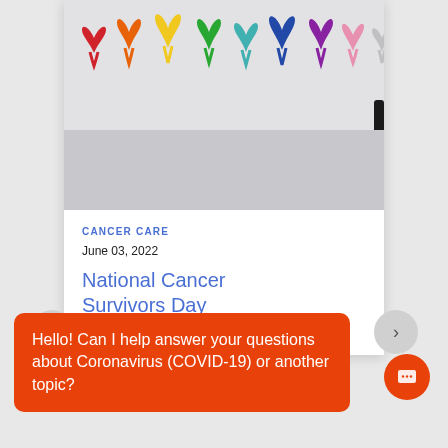[Figure (photo): Row of colorful cancer awareness ribbons (red, orange, yellow, green, teal, blue, purple, pink, white/gray) on a light gray background.]
CANCER CARE
June 03, 2022
National Cancer Survivors Day
celebrated, and awareness is
Hello! Can I help answer your questions about Coronavirus (COVID-19) or another topic?